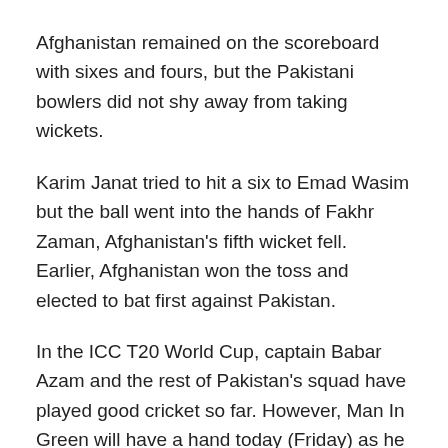Afghanistan remained on the scoreboard with sixes and fours, but the Pakistani bowlers did not shy away from taking wickets.
Karim Janat tried to hit a six to Emad Wasim but the ball went into the hands of Fakhr Zaman, Afghanistan's fifth wicket fell.
Earlier, Afghanistan won the toss and elected to bat first against Pakistan.
In the ICC T20 World Cup, captain Babar Azam and the rest of Pakistan's squad have played good cricket so far. However, Man In Green will have a hand today (Friday) as he tries to deal with Afghanistan's spin bowlers.